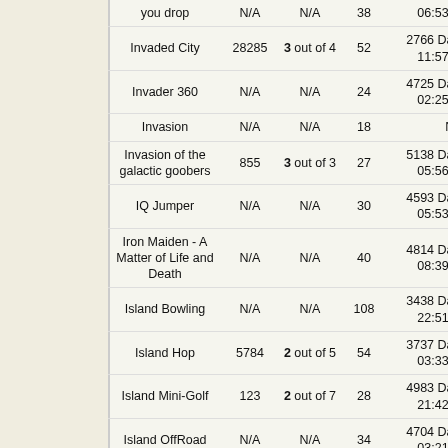| Game | Players | Achievements | Levels | Oldest Score |
| --- | --- | --- | --- | --- |
| you drop | N/A | N/A | 38 | 06:53:36 |
| Invaded City | 28285 | 3 out of 4 | 52 | 2766 Days 11:57:53 |
| Invader 360 | N/A | N/A | 24 | 4725 Days 02:25:59 |
| Invasion | N/A | N/A | 18 | N/A |
| Invasion of the galactic goobers | 855 | 3 out of 3 | 27 | 5138 Days 05:56:27 |
| IQ Jumper | N/A | N/A | 30 | 4593 Days 05:53:53 |
| Iron Maiden - A Matter of Life and Death | N/A | N/A | 40 | 4814 Days 08:39:51 |
| Island Bowling | N/A | N/A | 108 | 3438 Days 22:51:54 |
| Island Hop | 5784 | 2 out of 5 | 54 | 3737 Days 03:33:27 |
| Island Mini-Golf | 123 | 2 out of 7 | 28 | 4983 Days 21:42:13 |
| Island OffRoad | N/A | N/A | 34 | 4704 Days 03:21:39 |
| Island Shot | 130 | 1 out of 4 | 65 | 3543 Days 23:02:41 |